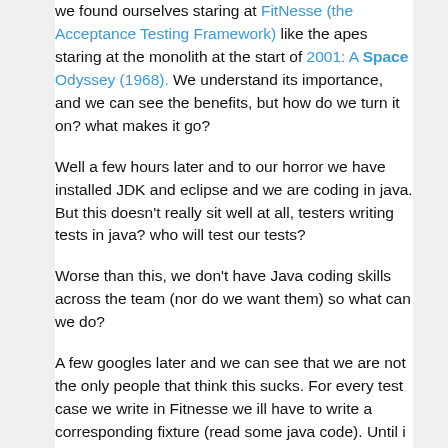we found ourselves staring at FitNesse (the Acceptance Testing Framework) like the apes staring at the monolith at the start of 2001: A Space Odyssey (1968). We understand its importance, and we can see the benefits, but how do we turn it on? what makes it go?
Well a few hours later and to our horror we have installed JDK and eclipse and we are coding in java. But this doesn't really sit well at all, testers writing tests in java? who will test our tests?
Worse than this, we don't have Java coding skills across the team (nor do we want them) so what can we do?
A few googles later and we can see that we are not the only people that think this sucks. For every test case we write in Fitnesse we ill have to write a corresponding fixture (read some java code). Until i run across Anubhava's Tech Blog and his post Introducing Generic Fixture for FitNesse. Here he talks of the same problem of having write java code for every test. His solution is rather neat, the GenericFixture.